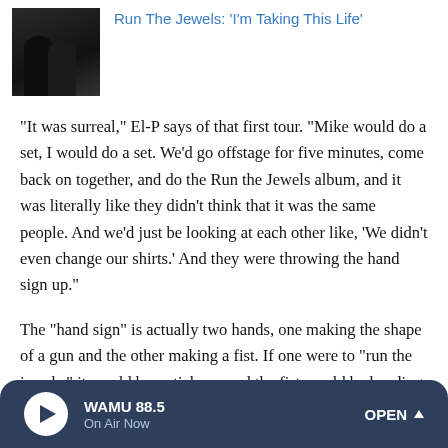[Figure (photo): Black and white thumbnail photo of two people, silhouetted figures in dark tones]
Run The Jewels: 'I'm Taking This Life'
"It was surreal," El-P says of that first tour. "Mike would do a set, I would do a set. We'd go offstage for five minutes, come back on together, and do the Run the Jewels album, and it was literally like they didn't think that it was the same people. And we'd just be looking at each other like, 'We didn't even change our shirts.' And they were throwing the hand sign up."
The "hand sign" is actually two hands, one making the shape of a gun and the other making a fist. If one were to "run the jewels," it would be a stick up, and the fist would be handing
WAMU 88.5  On Air Now  OPEN ^